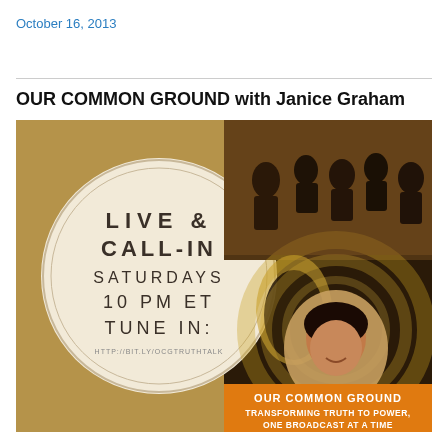October 16, 2013
OUR COMMON GROUND with Janice Graham
[Figure (illustration): Promotional image for 'Our Common Ground with Janice Graham' radio show. Left half shows a circular badge on dark brown/tan background with text 'LIVE & CALL-IN SATURDAYS 10 PM ET TUNE IN: http://bit.ly/ocgtruthtalк'. Right half shows a collage with a crowd of marchers, a raised fist, a woman's portrait (Janice Graham), and text 'OUR COMMON GROUND TRANSFORMING TRUTH TO POWER, ONE BROADCAST AT A TIME' on an orange/gold banner.]